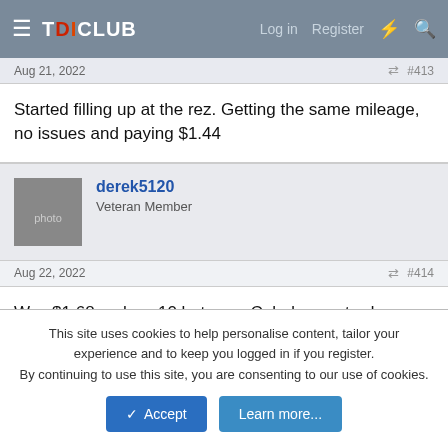TDICLUB — Log in  Register
Aug 21, 2022  #413
Started filling up at the rez. Getting the same mileage, no issues and paying $1.44
derek5120
Veteran Member
Aug 22, 2022  #414
Was $1.68 on hwy 10 between Caledon yesterday.
cdi320
Well-known member
This site uses cookies to help personalise content, tailor your experience and to keep you logged in if you register.
By continuing to use this site, you are consenting to our use of cookies.